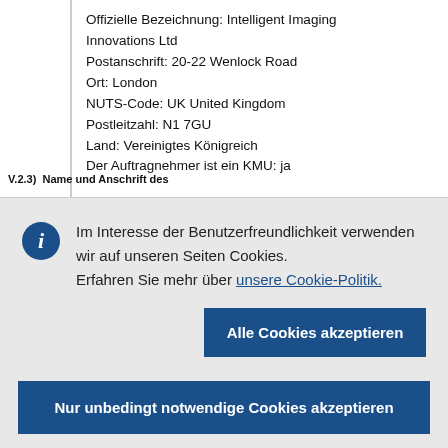Offizielle Bezeichnung: Intelligent Imaging Innovations Ltd
Postanschrift: 20-22 Wenlock Road
Ort: London
NUTS-Code: UK United Kingdom
Postleitzahl: N1 7GU
Land: Vereinigtes Königreich
Der Auftragnehmer ist ein KMU: ja
V.2.3) Name und Anschrift des
Im Interesse der Benutzerfreundlichkeit verwenden wir auf unseren Seiten Cookies. Erfahren Sie mehr über unsere Cookie-Politik.
Alle Cookies akzeptieren
Nur unbedingt notwendige Cookies akzeptieren